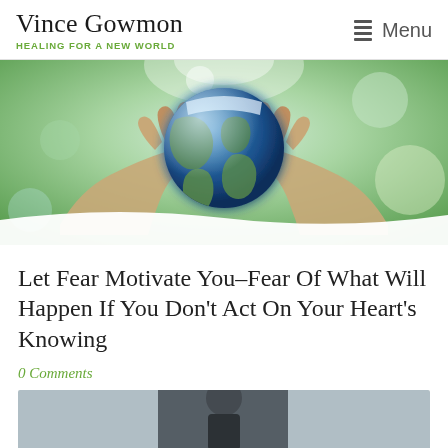Vince Gowmon — HEALING FOR A NEW WORLD | Menu
[Figure (photo): Hands cupping a glowing Earth globe against a green bokeh background]
Let Fear Motivate You–Fear Of What Will Happen If You Don't Act On Your Heart's Knowing
0 Comments
[Figure (photo): Partial photo of a person against a light gray background, cropped at bottom of page]